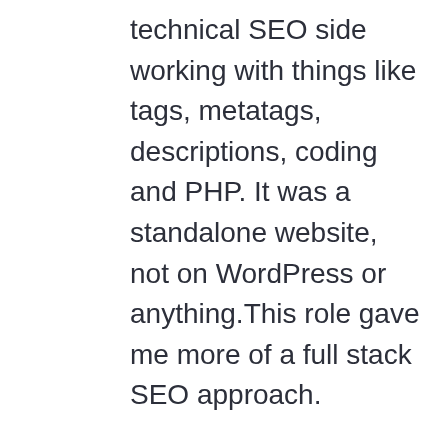technical SEO side working with things like tags, metatags, descriptions, coding and PHP. It was a standalone website, not on WordPress or anything.This role gave me more of a full stack SEO approach.
After that, I started freelancing for about